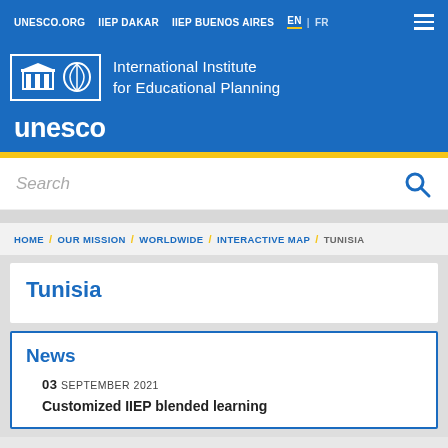UNESCO.ORG   IIEP DAKAR   IIEP BUENOS AIRES   EN | FR
[Figure (logo): UNESCO IIEP logo with temple icon, leaf/book icon, and text 'International Institute for Educational Planning' with 'unesco' wordmark]
Search
HOME / OUR MISSION / WORLDWIDE / INTERACTIVE MAP / TUNISIA
Tunisia
News
03 SEPTEMBER 2021
Customized IIEP blended learning